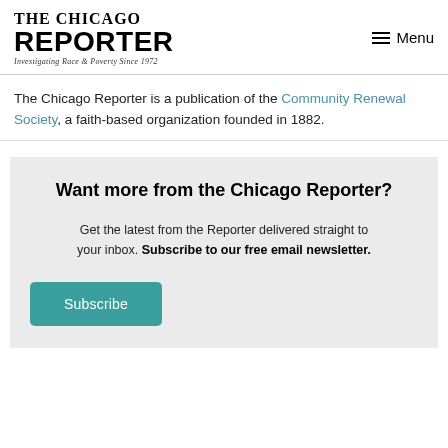THE CHICAGO REPORTER – Investigating Race & Poverty Since 1972 | Menu
The Chicago Reporter is a publication of the Community Renewal Society, a faith-based organization founded in 1882.
Want more from the Chicago Reporter?
Get the latest from the Reporter delivered straight to your inbox. Subscribe to our free email newsletter.